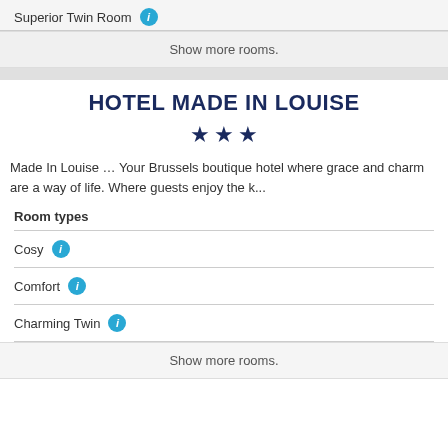Superior Twin Room
Show more rooms.
HOTEL MADE IN LOUISE
★★★
Made In Louise … Your Brussels boutique hotel where grace and charm are a way of life. Where guests enjoy the k...
Room types
Cosy
Comfort
Charming Twin
Show more rooms.